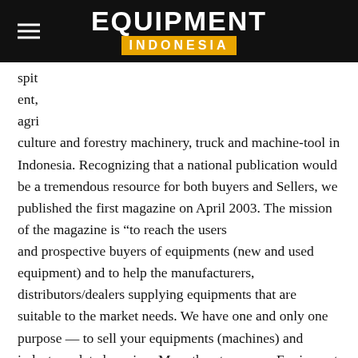EQUIPMENT INDONESIA
spit ent, agri culture and forestry machinery, truck and machine-tool in Indonesia. Recognizing that a national publication would be a tremendous resource for both buyers and Sellers, we published the first magazine on April 2003. The mission of the magazine is “to reach the users and prospective buyers of equipments (new and used equipment) and to help the manufacturers, distributors/dealers supplying equipments that are suitable to the market needs. We have one and only one purpose — to sell your equipments (machines) and industry-related services.More than ten years, Equipment Indonesia Magazine has evolved from a simple publication to a sophisticated publication with in-depth coverage of equipment news and related industry news,